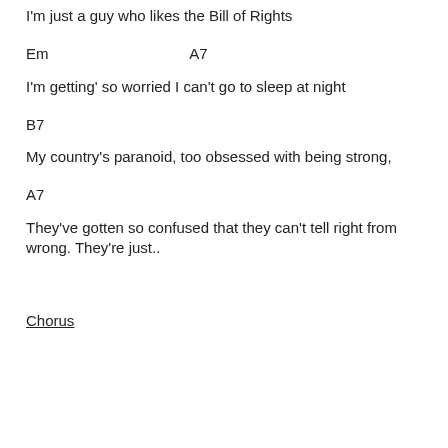I'm just a guy who likes the Bill of Rights
Em                                    A7
I'm getting' so worried I can't go to sleep at night
B7
My country's paranoid, too obsessed with being strong,
A7
They've gotten so confused that they can't tell right from wrong. They're just..
Chorus